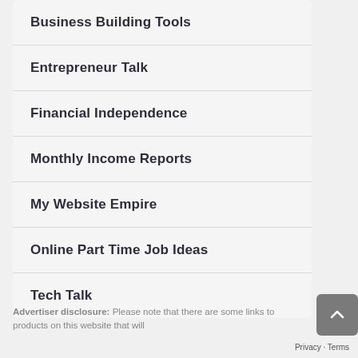Business Building Tools
Entrepreneur Talk
Financial Independence
Monthly Income Reports
My Website Empire
Online Part Time Job Ideas
Tech Talk
Advertiser disclosure: Please note that there are some links to products on this website that will